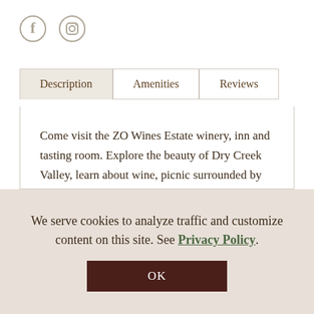[Figure (other): Facebook and Instagram social media icons in tan/beige color]
Description | Amenities | Reviews
Come visit the ZO Wines Estate winery, inn and tasting room. Explore the beauty of Dry Creek Valley, learn about wine, picnic surrounded by vineyards, stay among the vines at the farmstay inn, and taste the hand crafted,
We serve cookies to analyze traffic and customize content on this site. See Privacy Policy
OK